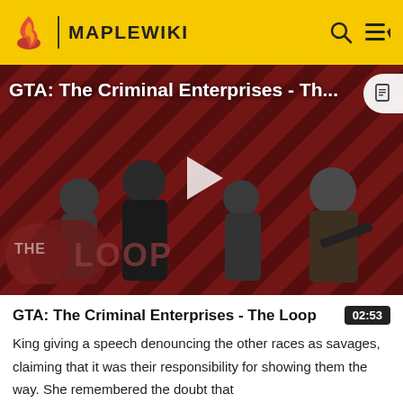MAPLEWIKI
[Figure (screenshot): Video thumbnail for GTA: The Criminal Enterprises - The Loop, showing game characters on a red diagonal-striped background with 'THE LOOP' text and a play button overlay]
GTA: The Criminal Enterprises - The Loop
02:53
King giving a speech denouncing the other races as savages, claiming that it was their responsibility for showing them the way. She remembered the doubt that